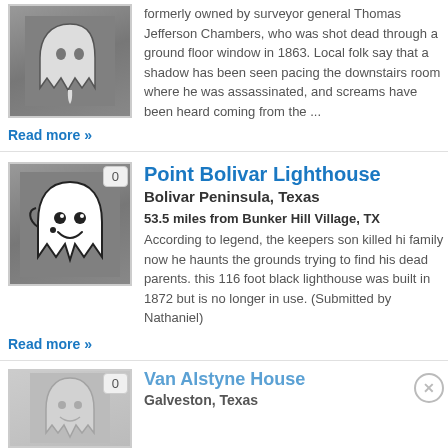[Figure (illustration): Ghost icon on dark grey background - dripping ghost silhouette]
formerly owned by surveyor general Thomas Jefferson Chambers, who was shot dead through a ground floor window in 1863. Local folk say that a shadow has been seen pacing the downstairs room where he was assassinated, and screams have been heard coming from the ...
Read more »
[Figure (illustration): White cartoon ghost with smile on dark grey background, with count badge showing 0]
Point Bolivar Lighthouse
Bolivar Peninsula, Texas
53.5 miles from Bunker Hill Village, TX
According to legend, the keepers son killed hi family now he haunts the grounds trying to find his dead parents. this 116 foot black lighthouse was built in 1872 but is no longer in use. (Submitted by Nathaniel)
Read more »
[Figure (illustration): Partial ghost icon on light grey background with count badge 0]
Van Alstyne House
Galveston, Texas